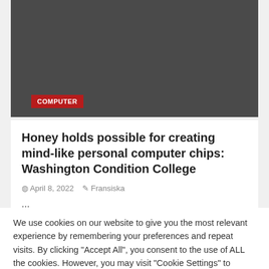[Figure (photo): Dark gray image block representing a photo placeholder with a red COMPUTER category badge overlaid at the bottom left]
Honey holds possible for creating mind-like personal computer chips: Washington Condition College
April 8, 2022   Fransiska
...
We use cookies on our website to give you the most relevant experience by remembering your preferences and repeat visits. By clicking "Accept All", you consent to the use of ALL the cookies. However, you may visit "Cookie Settings" to provide a controlled consent.